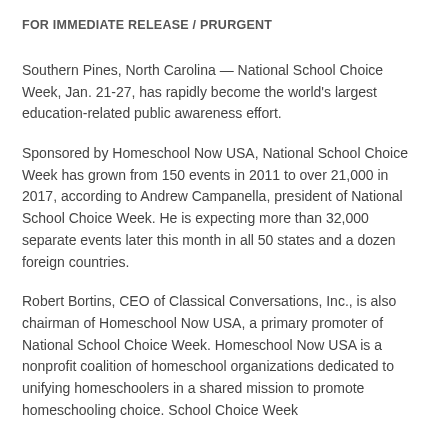FOR IMMEDIATE RELEASE / PRURGENT
Southern Pines, North Carolina — National School Choice Week, Jan. 21-27, has rapidly become the world's largest education-related public awareness effort.
Sponsored by Homeschool Now USA, National School Choice Week has grown from 150 events in 2011 to over 21,000 in 2017, according to Andrew Campanella, president of National School Choice Week. He is expecting more than 32,000 separate events later this month in all 50 states and a dozen foreign countries.
Robert Bortins, CEO of Classical Conversations, Inc., is also chairman of Homeschool Now USA, a primary promoter of National School Choice Week. Homeschool Now USA is a nonprofit coalition of homeschool organizations dedicated to unifying homeschoolers in a shared mission to promote homeschooling choice. School Choice Week...